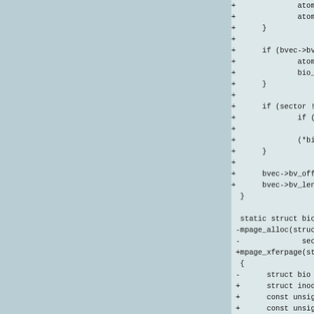Code diff showing changes to mpage functions including atomic_set, bio_append, bio_recycle calls and struct definitions